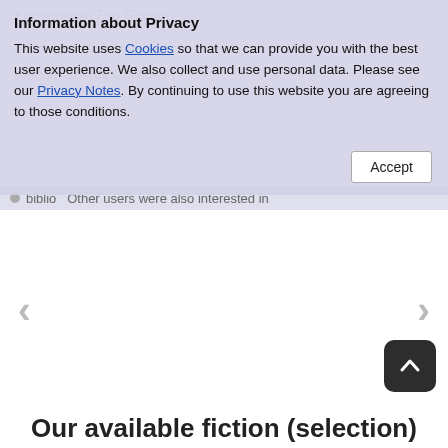• descripton Pro Section
• Media Source Collection
Information about Privacy
This website uses Cookies so that we can provide you with the best user experience. We also collect and use personal data. Please see our Privacy Notes. By continuing to use this website you are agreeing to those conditions.
Accept
● biblio  Other users were also interested in
[Figure (other): Carousel navigation area with left and right arrow chevrons on white background]
[Figure (other): Back to top button — dark rounded square with upward chevron icon]
Our available fiction (selection)